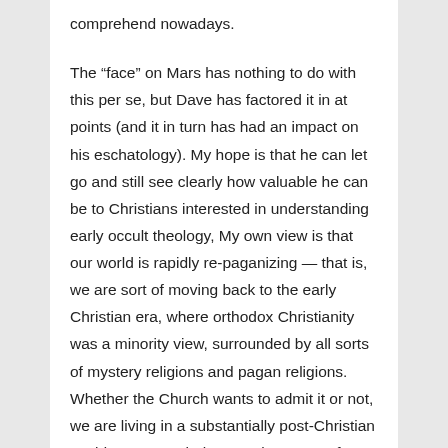comprehend nowadays.
The “face” on Mars has nothing to do with this per se, but Dave has factored it in at points (and it in turn has had an impact on his eschatology). My hope is that he can let go and still see clearly how valuable he can be to Christians interested in understanding early occult theology, My own view is that our world is rapidly re-paganizing — that is, we are sort of moving back to the early Christian era, where orthodox Christianity was a minority view, surrounded by all sorts of mystery religions and pagan religions. Whether the Church wants to admit it or not, we are living in a substantially post-Christian world. Dave can help us make sense of